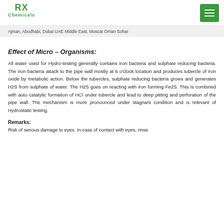RX Chemicals
Ajman, Abudhabi, Dubai UAE Middle East, Muscat Oman Sohar
Effect of Micro – Organisms:
All water used for Hydro-testing generally contains iron bacteria and sulphate reducing bacteria. The iron bacteria attack to the pipe wall mostly at 6 o'clock location and produces tubercle of iron oxide by metabolic action. Below the tubercles, sulphate reducing bacteria grows and generates H2S from sulphate of water. The H2S goes on reacting with iron forming Fe2S. This is combined with auto catalytic formation of HCl under tubercle and lead to deep pitting and perforation of the pipe wall. The mechanism is more pronounced under stagnant condition and is relevant of Hydrostatic testing.
Remarks:
Risk of serious damage to eyes. In case of contact with eyes, rinse